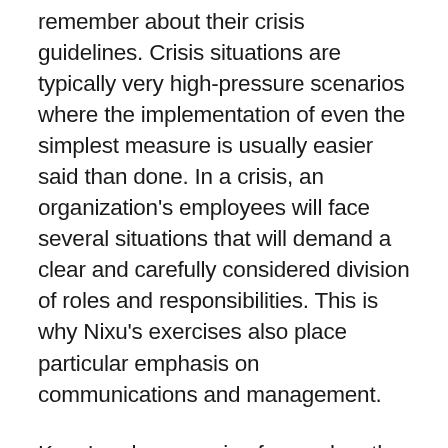remember about their crisis guidelines. Crisis situations are typically very high-pressure scenarios where the implementation of even the simplest measure is usually easier said than done. In a crisis, an organization's employees will face several situations that will demand a clear and carefully considered division of roles and responsibilities. This is why Nixu's exercises also place particular emphasis on communications and management.
Keva's cyber exercise focused on the disruption management process utilized by its IT and communications units. The primary objective of the exercise was to identify any weak points in the agency's processes, decision-making practices and communication policies – and to hone them for any future crises. The exercise scenario